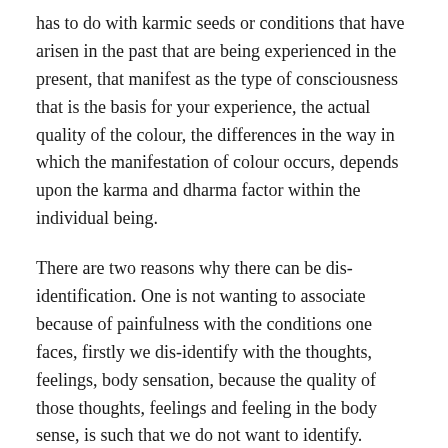has to do with karmic seeds or conditions that have arisen in the past that are being experienced in the present, that manifest as the type of consciousness that is the basis for your experience, the actual quality of the colour, the differences in the way in which the manifestation of colour occurs, depends upon the karma and dharma factor within the individual being.
There are two reasons why there can be dis-identification. One is not wanting to associate because of painfulness with the conditions one faces, firstly we dis-identify with the thoughts, feelings, body sensation, because the quality of those thoughts, feelings and feeling in the body sense, is such that we do not want to identify.